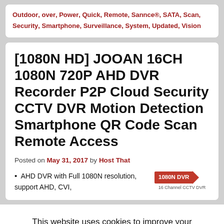Outdoor, over, Power, Quick, Remote, Sannce®, SATA, Scan, Security, Smartphone, Surveillance, System, Updated, Vision
[1080N HD] JOOAN 16CH 1080N 720P AHD DVR Recorder P2P Cloud Security CCTV DVR Motion Detection Smartphone QR Code Scan Remote Access
Posted on May 31, 2017 by Host That
AHD DVR with Full 1080N resolution, support AHD, CVI,
[Figure (other): Red badge reading '1080N DVR' with arrow shape and subtitle '16 Channel CCTV DVR']
This website uses cookies to improve your experience. We'll assume you're ok with this, but you can opt-out if you wish.
Accept   Read More